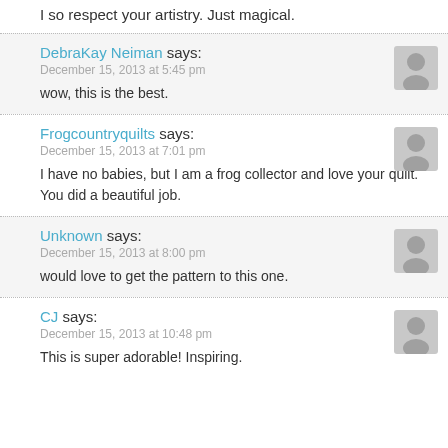I so respect your artistry. Just magical.
DebraKay Neiman says:
December 15, 2013 at 5:45 pm
wow, this is the best.
Frogcountryquilts says:
December 15, 2013 at 7:01 pm
I have no babies, but I am a frog collector and love your quilt. You did a beautiful job.
Unknown says:
December 15, 2013 at 8:00 pm
would love to get the pattern to this one.
CJ says:
December 15, 2013 at 10:48 pm
This is super adorable! Inspiring.